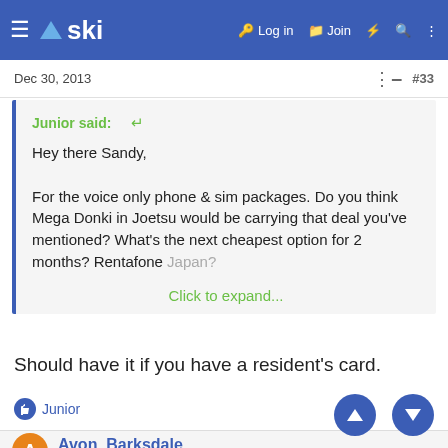≡ △ski  🔑 Log in  🗂 Join  ⚡ 🔍 ⋮
Dec 30, 2013  #33
Junior said: ↩

Hey there Sandy,

For the voice only phone & sim packages. Do you think Mega Donki in Joetsu would be carrying that deal you've mentioned? What's the next cheapest option for 2 months? Rentafone Japan?

Click to expand...
Should have it if you have a resident's card.
👍 Junior
Avon_Barksdale